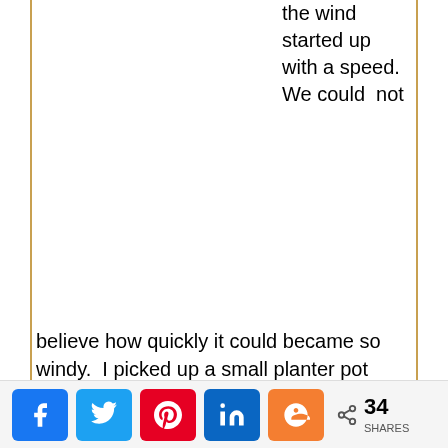the wind started up with a speed. We could not
believe how quickly it could became so windy.  I picked up a small planter pot which blew into the middle of the road with something inside. At first I wanted to just
[Figure (other): Social media share buttons: Facebook, Twitter, Pinterest, LinkedIn, Mix; share count showing 34 SHARES]